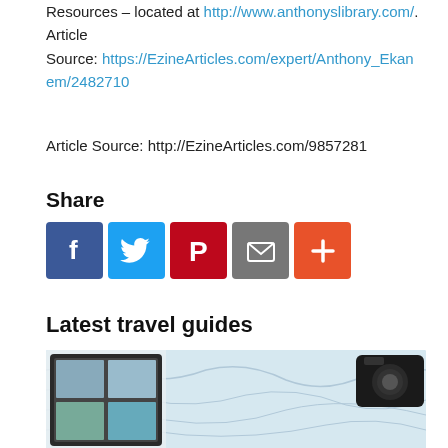Resources – located at http://www.anthonyslibrary.com/.
Article
Source: https://EzineArticles.com/expert/Anthony_Ekanem/2482710
Article Source: http://EzineArticles.com/9857281
Share
[Figure (infographic): Social share buttons: Facebook (blue), Twitter (light blue), Pinterest (red), Email (grey), More (orange-red)]
Latest travel guides
[Figure (photo): Photo of a travel map with a tablet showing photos and a camera on the right side]